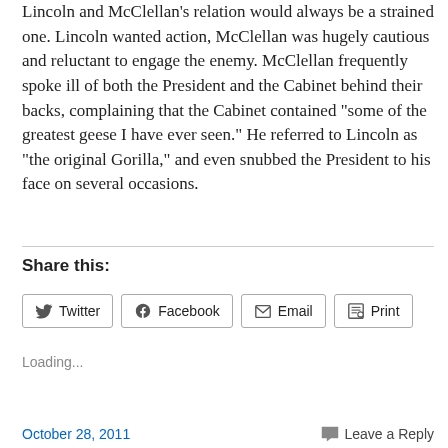Lincoln and McClellan's relation would always be a strained one. Lincoln wanted action, McClellan was hugely cautious and reluctant to engage the enemy. McClellan frequently spoke ill of both the President and the Cabinet behind their backs, complaining that the Cabinet contained “some of the greatest geese I have ever seen.” He referred to Lincoln as “the original Gorilla,” and even snubbed the President to his face on several occasions.
Share this:
Twitter  Facebook  Email  Print
Loading...
October 28, 2011    Leave a Reply